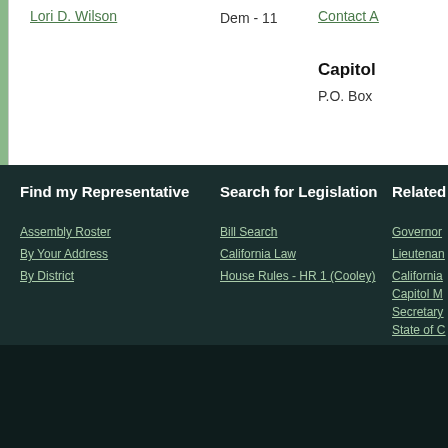Lori D. Wilson
Dem - 11
Contact A...
Capitol
P.O. Box
Find my Representative
Assembly Roster
By Your Address
By District
Search for Legislation
Bill Search
California Law
House Rules - HR 1 (Cooley)
Related
Governor
Lieutenan...
California...
Capitol M...
Secretary ...
State of C...
Workplac...
Help :: Site Map :: Acce...
Copyri...